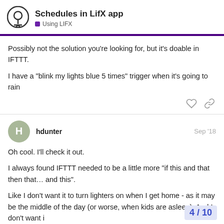Schedules in LifX app — Using LIFX
Possibly not the solution you're looking for, but it's doable in IFTTT.
I have a "blink my lights blue 5 times" trigger when it's going to rain
hdunter — Sep '18
Oh cool. I'll check it out.
I always found IFTTT needed to be a little more "if this and that then that… and this".
Like I don't want it to turn lighters on when I get home - as it may be the middle of the day (or worse, when kids are asleep). And I don't want i
4 / 10